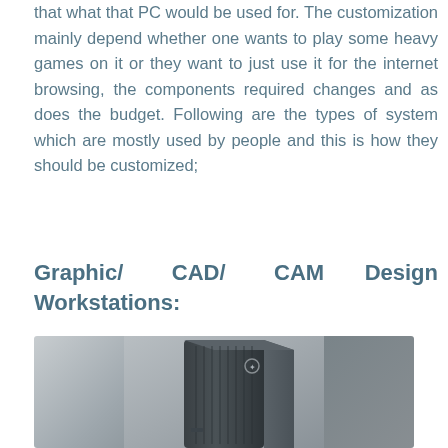that what that PC would be used for. The customization mainly depend whether one wants to play some heavy games on it or they want to just use it for the internet browsing, the components required changes and as does the budget. Following are the types of system which are mostly used by people and this is how they should be customized;
Graphic/ CAD/ CAM Design Workstations:
[Figure (photo): A dark grey/black tower PC workstation case standing vertically against a light grey background]